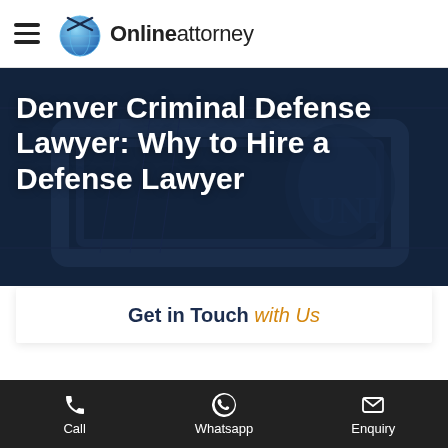Online attorney (navigation bar with hamburger menu and logo)
Denver Criminal Defense Lawyer: Why to Hire a Defense Lawyer
Get in Touch with Us
Call  Whatsapp  Enquiry